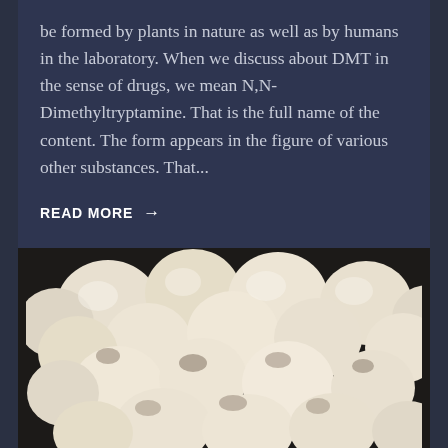be formed by plants in nature as well as by humans in the laboratory. When we discuss about DMT in the sense of drugs, we mean N,N-Dimethyltryptamine. That is the full name of the content. The form appears in the figure of various other substances. That...
READ MORE →
[Figure (photo): Close-up photograph of many white/cream-colored mushrooms clustered together in a box or tray, shot from above against a dark background.]